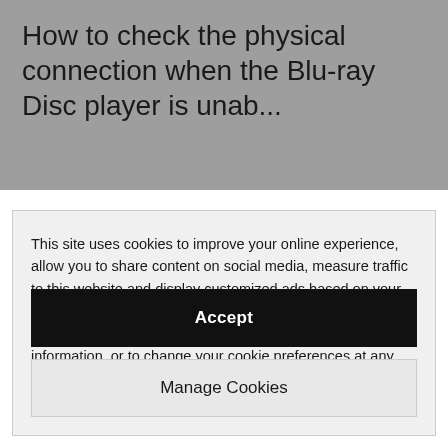How to check the physical connection when the Blu-ray Disc player is unab...
This site uses cookies to improve your online experience, allow you to share content on social media, measure traffic to this website and display customized ads based on your browsing activity. By clicking ACCEPT, you are agreeing to Sony Europe's and their partners' use of cookies. For more information, or to change your cookie preferences at any time, visit Sony Europe's cookie policy.
Accept
Manage Cookies